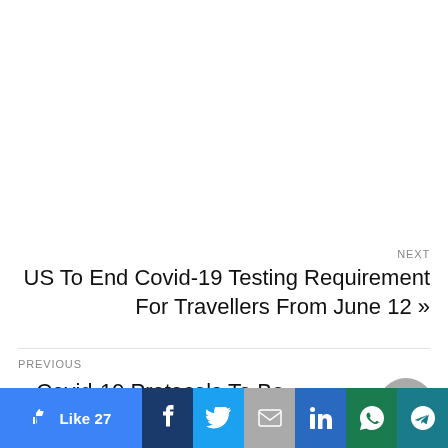NEXT
US To End Covid-19 Testing Requirement For Travellers From June 12 »
PREVIOUS
« Covid-19 Protocols To Be Followed At Airports And Inside The Aircraft | DGCA India
SHARE
[Figure (infographic): Social share bar with Like 27 (blue), Facebook (dark blue), Twitter (light blue), Email (grey), LinkedIn (blue), WhatsApp (green), Telegram (teal) buttons]